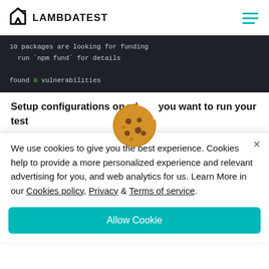LAMBDATEST
[Figure (screenshot): Terminal output showing: 10 packages are looking for funding / run `npm fund` for details / found 0 vulnerabilities]
Setup configurations on which you want to run your test
– Once you have installed the lambdatest-cypress CLI, now you need to set up the configuration. You can do that using the following command:
[Figure (illustration): Cookie emoji icon (brown cookie with chocolate chips and a bite taken out)]
We use cookies to give you the best experience. Cookies help to provide a more personalized experience and relevant advertising for you, and web analytics for us. Learn More in our Cookies policy, Privacy & Terms of service.
Allow Cookie